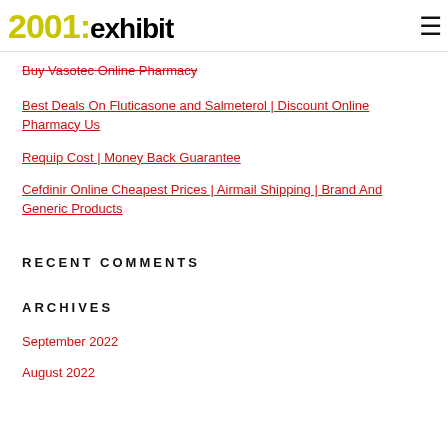2001:exhibit
Buy Vasotec Online Pharmacy
Best Deals On Fluticasone and Salmeterol | Discount Online Pharmacy Us
Requip Cost | Money Back Guarantee
Cefdinir Online Cheapest Prices | Airmail Shipping | Brand And Generic Products
RECENT COMMENTS
ARCHIVES
September 2022
August 2022